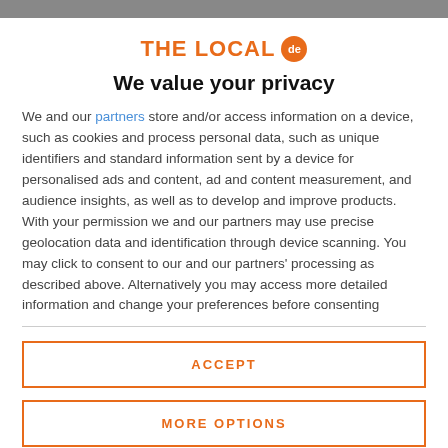THE LOCAL de
We value your privacy
We and our partners store and/or access information on a device, such as cookies and process personal data, such as unique identifiers and standard information sent by a device for personalised ads and content, ad and content measurement, and audience insights, as well as to develop and improve products. With your permission we and our partners may use precise geolocation data and identification through device scanning. You may click to consent to our and our partners' processing as described above. Alternatively you may access more detailed information and change your preferences before consenting
ACCEPT
MORE OPTIONS
'Allow more freedom and